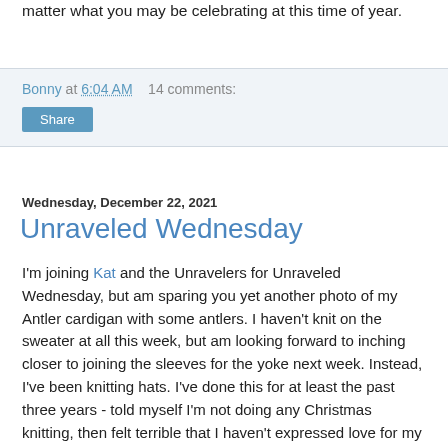matter what you may be celebrating at this time of year.
Bonny at 6:04 AM    14 comments:
Share
Wednesday, December 22, 2021
Unraveled Wednesday
I'm joining Kat and the Unravelers for Unraveled Wednesday, but am sparing you yet another photo of my Antler cardigan with some antlers. I haven't knit on the sweater at all this week, but am looking forward to inching closer to joining the sleeves for the yoke next week. Instead, I've been knitting hats. I've done this for at least the past three years - told myself I'm not doing any Christmas knitting, then felt terrible that I haven't expressed love for my family through stitches, chosen a hat pattern, and ended up knitting something warm for them. I've previously knit waffle hats and Rikke, but this year I chose Bankhead (Ravelry link).